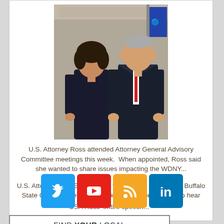[Figure (photo): Two people standing side by side posing for a photo in a formal office setting with a flag in the background. A woman in dark clothing on the left and a man in a dark suit with a red tie on the right.]
U.S. Attorney Ross attended Attorney General Advisory Committee meetings this week.  When appointed, Ross said she wanted to share issues impacting the WDNY...
U.S. Attorney Trini E. Ross was the keynote speaker as Buffalo State College celebrates Black History Month.  Click to hear USA Ross' entire speech...
[Figure (infographic): Social media icons: Twitter (blue), YouTube (red), RSS (orange), LinkedIn (blue)]
FIND YOUR LOCAL